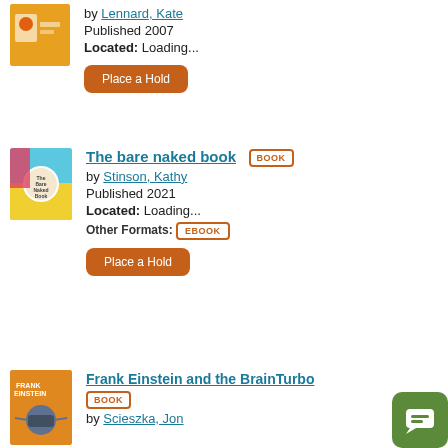[Figure (illustration): Book cover thumbnail at top left (partial, cropped)]
by Lennard, Kate
Published 2007
Located: Loading...
Place a Hold
[Figure (illustration): The Bare Naked Book cover — colorful children's book cover]
The bare naked book BOOK by Stinson, Kathy Published 2021 Located: Loading... Other Formats: EBOOK Place a Hold
[Figure (illustration): Frank Einstein and the BrainTurbo book cover]
Frank Einstein and the BrainTurbo BOOK by Scieszka, Jon